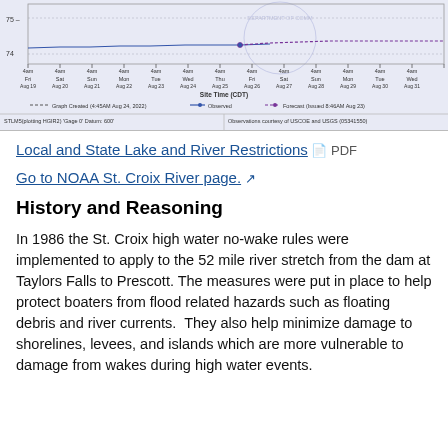[Figure (continuous-plot): River stage hydrograph showing observed and forecast water levels for St. Croix River from Aug 19 to Aug 31, with y-axis values 74-75, x-axis showing 4am times for Fri-Wed. Includes NOAA Department of Commerce watermark. Legend shows Graph Created 4:45AM Aug 24 2022, Observed line, and Forecast issued 8:46AM Aug 23. Labels: STLM5(plotting HGIR2) 'Gage 0' Datum: 600' and Observations courtesy of USCOE and USGS (05341550).]
Local and State Lake and River Restrictions PDF
Go to NOAA St. Croix River page.
History and Reasoning
In 1986 the St. Croix high water no-wake rules were implemented to apply to the 52 mile river stretch from the dam at Taylors Falls to Prescott. The measures were put in place to help protect boaters from flood related hazards such as floating debris and river currents.  They also help minimize damage to shorelines, levees, and islands which are more vulnerable to damage from wakes during high water events.